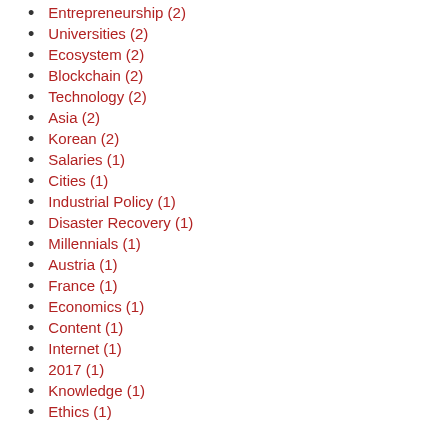Entrepreneurship (2)
Universities (2)
Ecosystem (2)
Blockchain (2)
Technology (2)
Asia (2)
Korean (2)
Salaries (1)
Cities (1)
Industrial Policy (1)
Disaster Recovery (1)
Millennials (1)
Austria (1)
France (1)
Economics (1)
Content (1)
Internet (1)
2017 (1)
Knowledge (1)
Ethics (1)